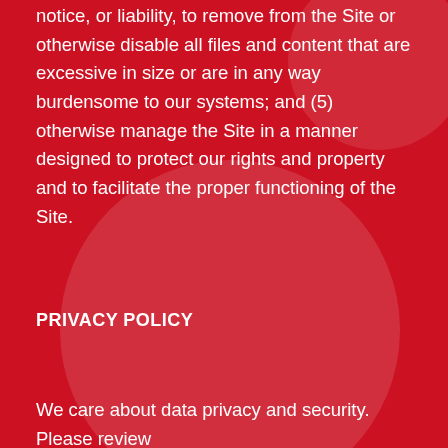notice, or liability, to remove from the Site or otherwise disable all files and content that are excessive in size or are in any way burdensome to our systems; and (5) otherwise manage the Site in a manner designed to protect our rights and property and to facilitate the proper functioning of the Site.
PRIVACY POLICY
We care about data privacy and security. Please review